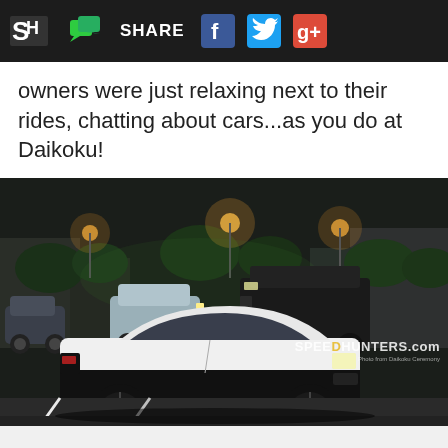SH SHARE [Facebook] [Twitter] [Google+]
owners were just relaxing next to their rides, chatting about cars...as you do at Daikoku!
[Figure (photo): Night photo of a white and black classic Japanese car (Nissan Soarer/similar) parked in a lot at Daikoku Futo, with other vehicles including a black Hummer H2 visible in the background, city lights and trees visible, parking lot lines on dark asphalt. Speedhunters.com watermark in bottom right.]